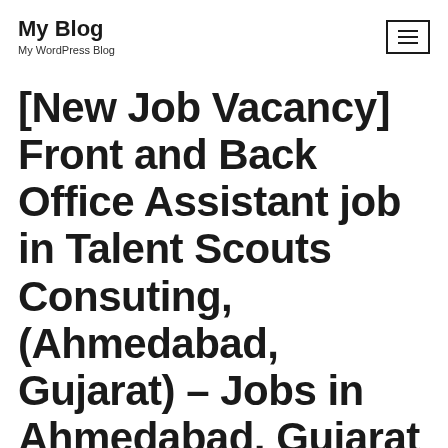My Blog
My WordPress Blog
[New Job Vacancy] Front and Back Office Assistant job in Talent Scouts Consuting, (Ahmedabad, Gujarat) – Jobs in Ahmedabad, Gujarat